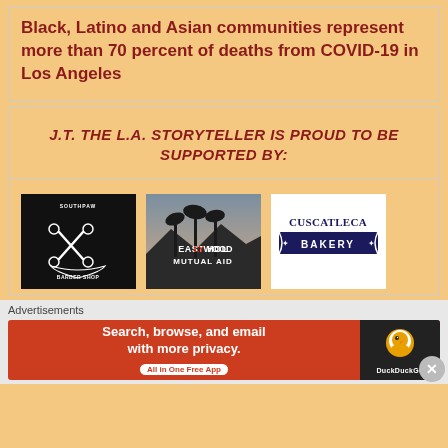Black, Latino and Asian communities represent more than 70 percent of deaths from COVID-19 in Los Angeles
J.T. THE L.A. STORYTELLER IS PROUD TO BE SUPPORTED BY:
[Figure (logo): Three sponsor logos: a barber shop style logo on black background, East Hollywood Mutual Aid logo on dark photo background, and Cuscatleca Bakery logo on white background]
Advertisements
[Figure (screenshot): DuckDuckGo advertisement: Search, browse, and email with more privacy. All in One Free App]